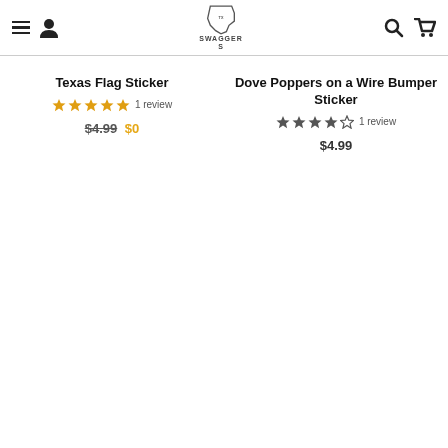Texas Swagger - navigation header with hamburger menu, user icon, logo, search, and cart
Texas Flag Sticker
★★★★★ 1 review
$4.99 $0
Dove Poppers on a Wire Bumper Sticker
★★★★☆ 1 review
$4.99